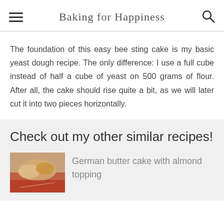Baking for Happiness
The foundation of this easy bee sting cake is my basic yeast dough recipe. The only difference: I use a full cube instead of half a cube of yeast on 500 grams of flour. After all, the cake should rise quite a bit, as we will later cut it into two pieces horizontally.
Check out my other similar recipes!
[Figure (photo): Photo of German butter cake with almond topping on a red cloth]
German butter cake with almond topping